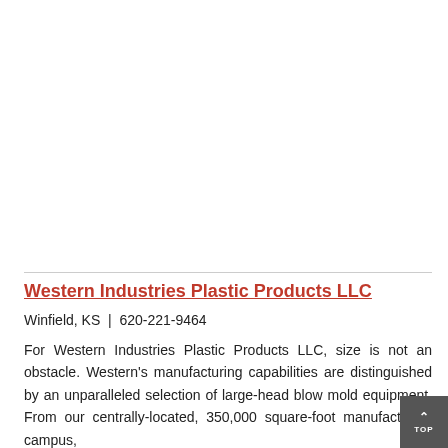Western Industries Plastic Products LLC
Winfield, KS  |  620-221-9464
For Western Industries Plastic Products LLC, size is not an obstacle. Western's manufacturing capabilities are distinguished by an unparalleled selection of large-head blow mold equipment. From our centrally-located, 350,000 square-foot manufacturing campus,